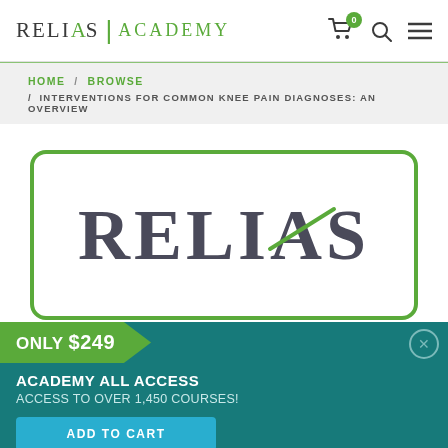RELIAS ACADEMY
HOME / BROWSE / INTERVENTIONS FOR COMMON KNEE PAIN DIAGNOSES: AN OVERVIEW
[Figure (logo): Relias Academy large logo with green border, showing RELIAS text in dark serif font with green accent line through the A]
ONLY $249
ACADEMY ALL ACCESS
ACCESS TO OVER 1,450 COURSES!
ADD TO CART